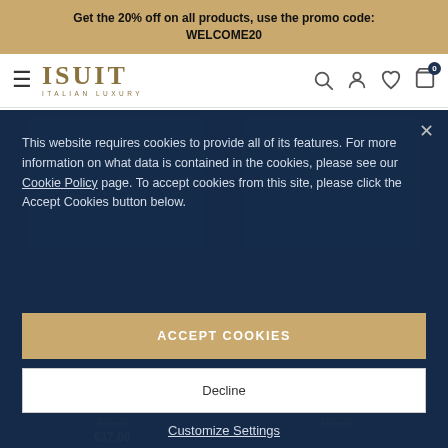Get the 20% off on all products, use the promo code: WELCOME20
[Figure (screenshot): ISUIT Italian Luxury website navigation bar with hamburger menu, logo, search, account, wishlist and cart icons]
[Figure (screenshot): Cookie consent modal overlay on dark navy background. Text: This website requires cookies to provide all of its features. For more information on what data is contained in the cookies, please see our Cookie Policy page. To accept cookies from this site, please click the Accept Cookies button below. Buttons: ACCEPT COOKIES, Decline, Customize Settings.]
SWIM TRUNKS
TRUNKS